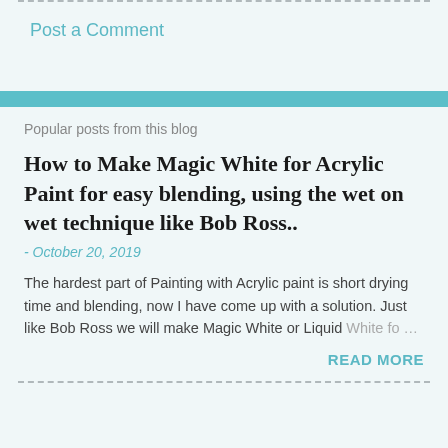Post a Comment
Popular posts from this blog
How to Make Magic White for Acrylic Paint for easy blending, using the wet on wet technique like Bob Ross..
- October 20, 2019
The hardest part of Painting with Acrylic paint is short drying time and blending, now I have come up with a solution. Just like Bob Ross we will make Magic White or Liquid White fo ...
READ MORE